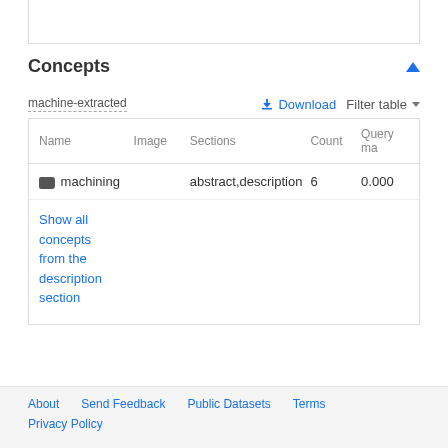Concepts
machine-extracted
| Name | Image | Sections | Count | Query ma |
| --- | --- | --- | --- | --- |
| machining |  | abstract,description | 6 | 0.000 |
| Show all concepts from the description section |  |  |  |  |
About  Send Feedback  Public Datasets  Terms  Privacy Policy